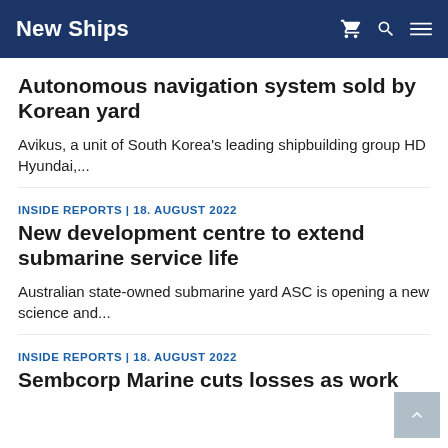New Ships
Autonomous navigation system sold by Korean yard
Avikus, a unit of South Korea's leading shipbuilding group HD Hyundai,...
INSIDE REPORTS | 18. AUGUST 2022
New development centre to extend submarine service life
Australian state-owned submarine yard ASC is opening a new science and...
INSIDE REPORTS | 18. AUGUST 2022
Sembcorp Marine cuts losses as work